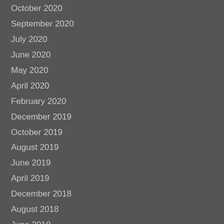October 2020
September 2020
July 2020
June 2020
May 2020
April 2020
February 2020
December 2019
October 2019
August 2019
June 2019
April 2019
December 2018
August 2018
June 2018
April 2018
March 2018
December 2017